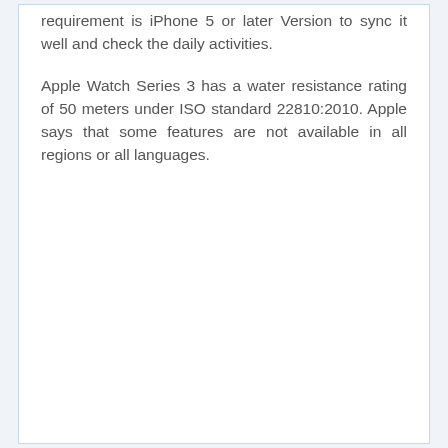requirement is iPhone 5 or later Version to sync it well and check the daily activities.
Apple Watch Series 3 has a water resistance rating of 50 meters under ISO standard 22810:2010. Apple says that some features are not available in all regions or all languages.